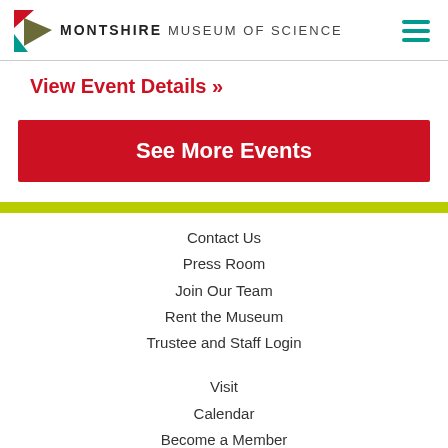MONTSHIRE MUSEUM OF SCIENCE
View Event Details »
See More Events
Contact Us
Press Room
Join Our Team
Rent the Museum
Trustee and Staff Login
Visit
Calendar
Become a Member
Support the Museum
[Figure (logo): FOURSCIENCE Vermont logo]